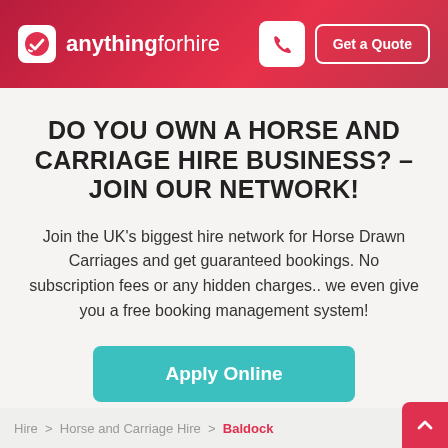[Figure (logo): anythingforhire logo with icon, phone button, and Get a Quote button on red gradient header]
DO YOU OWN A HORSE AND CARRIAGE HIRE BUSINESS? – JOIN OUR NETWORK!
Join the UK's biggest hire network for Horse Drawn Carriages and get guaranteed bookings. No subscription fees or any hidden charges.. we even give you a free booking management system!
Apply Online
Hire > Horse and Carriage Hire > Baldock